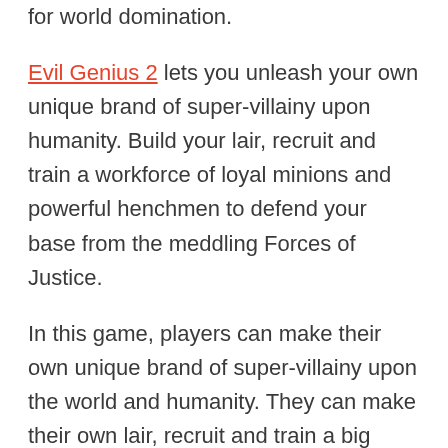for world domination.
Evil Genius 2 lets you unleash your own unique brand of super-villainy upon humanity. Build your lair, recruit and train a workforce of loyal minions and powerful henchmen to defend your base from the meddling Forces of Justice.
In this game, players can make their own unique brand of super-villainy upon the world and humanity. They can make their own lair, recruit and train a big workforce of loyal minions and powerful henchmen to defend the base of their dreams from the Forces of Justice.